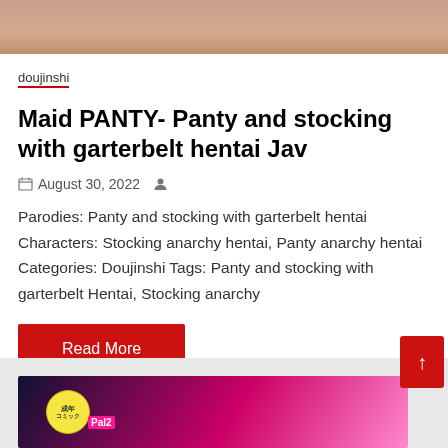[Figure (illustration): Cropped top portion of an anime/manga style illustration showing a character's face/head area with skin tones]
doujinshi
Maid PANTY- Panty and stocking with garterbelt hentai Jav
August 30, 2022
Parodies: Panty and stocking with garterbelt hentai Characters: Stocking anarchy hentai, Panty anarchy hentai Categories: Doujinshi Tags: Panty and stocking with garterbelt Hentai, Stocking anarchy
Read More
[Figure (illustration): Colorful anime/manga style cover image with Japanese text badge reading 成年コミック (adult comic), pink and dark background with characters]